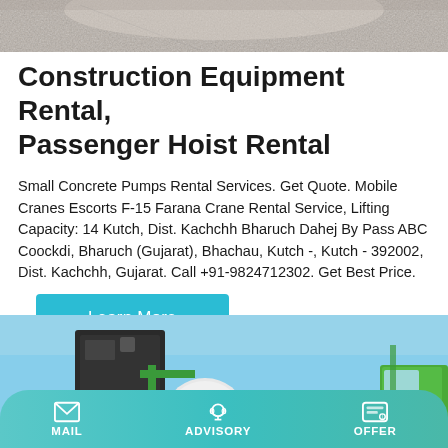[Figure (photo): Top partial photo of road/ground surface, grayscale]
Construction Equipment Rental, Passenger Hoist Rental
Small Concrete Pumps Rental Services. Get Quote. Mobile Cranes Escorts F-15 Farana Crane Rental Service, Lifting Capacity: 14 Kutch, Dist. Kachchh Bharuch Dahej By Pass ABC Coockdi, Bharuch (Gujarat), Bhachau, Kutch -, Kutch - 392002, Dist. Kachchh, Gujarat. Call +91-9824712302. Get Best Price.
Learn More
[Figure (photo): Construction equipment (crane/concrete mixer with green frame) against blue sky]
MAIL   ADVISORY   OFFER